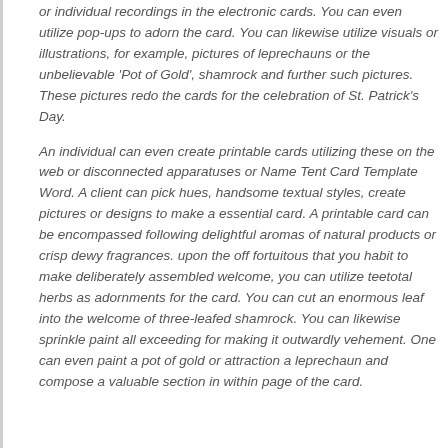or individual recordings in the electronic cards. You can even utilize pop-ups to adorn the card. You can likewise utilize visuals or illustrations, for example, pictures of leprechauns or the unbelievable 'Pot of Gold', shamrock and further such pictures. These pictures redo the cards for the celebration of St. Patrick's Day.
An individual can even create printable cards utilizing these on the web or disconnected apparatuses or Name Tent Card Template Word. A client can pick hues, handsome textual styles, create pictures or designs to make a essential card. A printable card can be encompassed following delightful aromas of natural products or crisp dewy fragrances. upon the off fortuitous that you habit to make deliberately assembled welcome, you can utilize teetotal herbs as adornments for the card. You can cut an enormous leaf into the welcome of three-leafed shamrock. You can likewise sprinkle paint all exceeding for making it outwardly vehement. One can even paint a pot of gold or attraction a leprechaun and compose a valuable section in within page of the card.